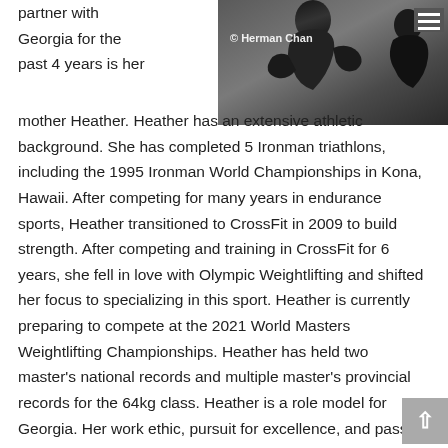[Figure (photo): Black and white photo of an athlete with © Herman Chan watermark, with a hamburger menu icon in the top right corner]
partner with Georgia for the past 4 years is her mother Heather. Heather has an extensive athletic background. She has completed 5 Ironman triathlons, including the 1995 Ironman World Championships in Kona, Hawaii. After competing for many years in endurance sports, Heather transitioned to CrossFit in 2009 to build strength. After competing and training in CrossFit for 6 years, she fell in love with Olympic Weightlifting and shifted her focus to specializing in this sport. Heather is currently preparing to compete at the 2021 World Masters Weightlifting Championships. Heather has held two master's national records and multiple master's provincial records for the 64kg class. Heather is a role model for Georgia. Her work ethic, pursuit for excellence, and passion for the sport inspires Georgia and motivates her in training, competition, and life.